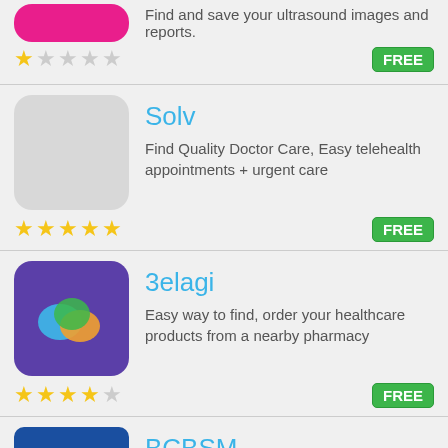Find and save your ultrasound images and reports.
★☆☆☆☆   FREE
Solv
Find Quality Doctor Care, Easy telehealth appointments + urgent care
★★★★★   FREE
3elagi
Easy way to find, order your healthcare products from a nearby pharmacy
★★★★☆   FREE
BCBSM
Michigan Blue Cross members can log in, find a doctor and see account info.